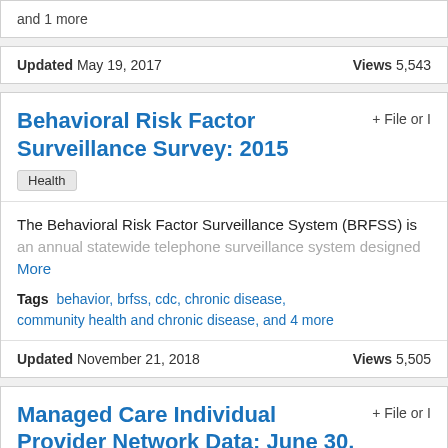and 1 more
Updated May 19, 2017   Views 5,543
Behavioral Risk Factor Surveillance Survey: 2015
+ File or I
Health
The Behavioral Risk Factor Surveillance System (BRFSS) is an annual statewide telephone surveillance system designed More
Tags  behavior, brfss, cdc, chronic disease, community health and chronic disease, and 4 more
Updated November 21, 2018   Views 5,505
Managed Care Individual Provider Network Data: June 30, 2014
+ File or I
Health